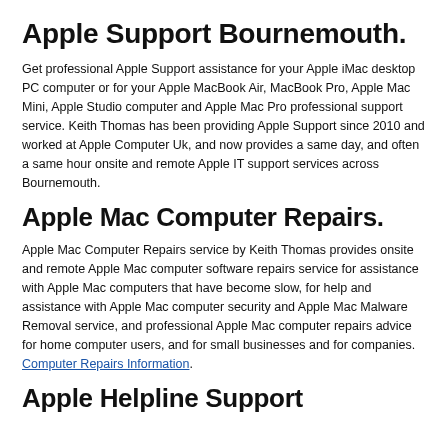Apple Support Bournemouth.
Get professional Apple Support assistance for your Apple iMac desktop PC computer or for your Apple MacBook Air, MacBook Pro, Apple Mac Mini, Apple Studio computer and Apple Mac Pro professional support service. Keith Thomas has been providing Apple Support since 2010 and worked at Apple Computer Uk, and now provides a same day, and often a same hour onsite and remote Apple IT support services across Bournemouth.
Apple Mac Computer Repairs.
Apple Mac Computer Repairs service by Keith Thomas provides onsite and remote Apple Mac computer software repairs service for assistance with Apple Mac computers that have become slow, for help and assistance with Apple Mac computer security and Apple Mac Malware Removal service, and professional Apple Mac computer repairs advice for home computer users, and for small businesses and for companies. Computer Repairs Information.
Apple Helpline Support